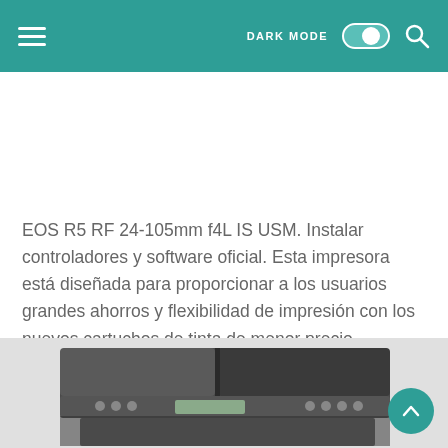DARK MODE [toggle] [search icon]
EOS R5 RF 24-105mm f4L IS USM. Instalar controladores y software oficial. Esta impresora está diseñada para proporcionar a los usuarios grandes ahorros y flexibilidad de impresión con los nuevos cartuchos de tinta de menor precio.
[Figure (photo): Photograph of a Canon multifunction printer/fax machine viewed from the top-front angle, showing the document feeder, control panel with LCD screen and buttons.]